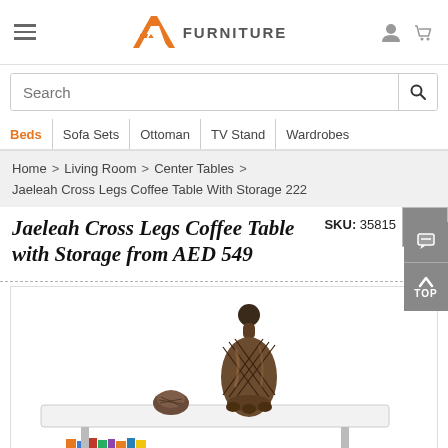AH FURNITURE — header with hamburger menu, logo, user and cart icons
Search
Beds | Sofa Sets | Ottoman | TV Stand | Wardrobes
Home > Living Room > Center Tables > Jaeleah Cross Legs Coffee Table With Storage 222
Jaeleah Cross Legs Coffee Table with Storage from AED 549
SKU: 35815
[Figure (photo): Photo of a white coffee table with decorative vases — a tall latticed dark vase and a small round decorative piece on the table surface, with colorful books visible on a lower shelf.]